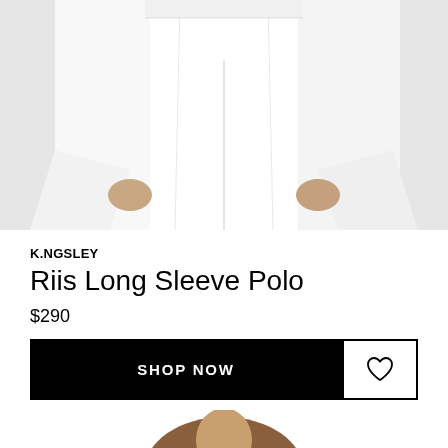[Figure (photo): Cropped photo of a model wearing a white long sleeve polo shirt and white wide-leg pants, shot from mid-torso down, showing the flared sleeves and the model's hands at sides.]
K.NGSLEY
Riis Long Sleeve Polo
$290
SHOP NOW
[Figure (photo): Partial photo of a second product, showing the neck/shoulder area of a model wearing a brown/rust colored garment, cropped at bottom of page.]